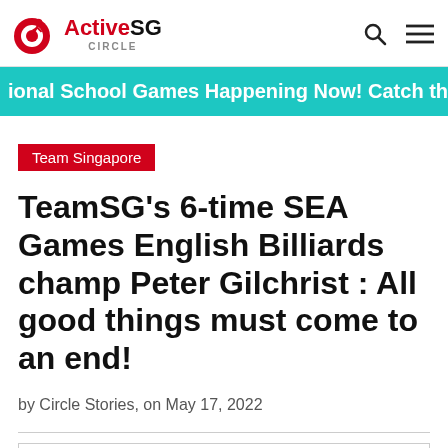ActiveSG Circle
ional School Games Happening Now! Catch the
Team Singapore
TeamSG's 6-time SEA Games English Billiards champ Peter Gilchrist : All good things must come to an end!
by Circle Stories, on May 17, 2022